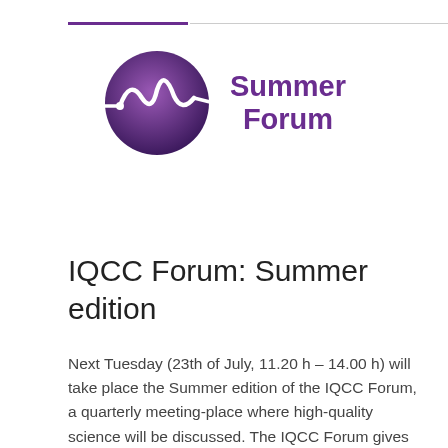[Figure (logo): IQCC Summer Forum logo: purple circular emblem with white wave/mountain line graphic, next to bold purple text reading 'Summer Forum']
IQCC Forum: Summer edition
Next Tuesday (23th of July, 11.20 h – 14.00 h) will take place the Summer edition of the IQCC Forum, a quarterly meeting-place where high-quality science will be discussed. The IQCC Forum gives the opportunity for PhD and postdoc members of the IQCC to present their results to a wider audience. This will help to